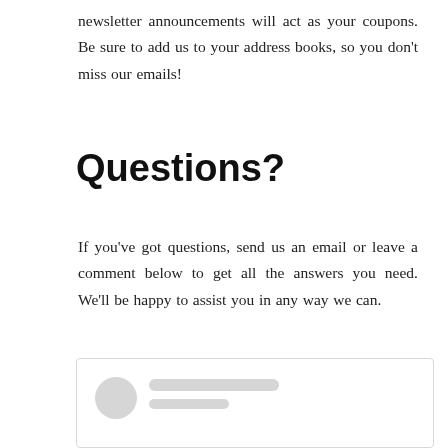newsletter announcements will act as your coupons. Be sure to add us to your address books, so you don't miss our emails!
Questions?
If you've got questions, send us an email or leave a comment below to get all the answers you need. We'll be happy to assist you in any way we can.
[Figure (screenshot): A comment box UI element with a circular avatar placeholder and two grey placeholder lines representing a user name and a short subtext.]